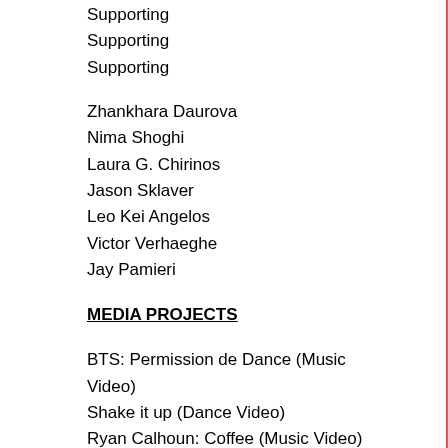Supporting
Supporting
Supporting
Zhankhara Daurova
Nima Shoghi
Laura G. Chirinos
Jason Sklaver
Leo Kei Angelos
Victor Verhaeghe
Jay Pamieri
MEDIA PROJECTS
BTS: Permission de Dance (Music Video)
Shake it up (Dance Video)
Ryan Calhoun: Coffee (Music Video)
Here's to Sisterhood (PSA)
Supporting
Supporting
Supporting
Supporting